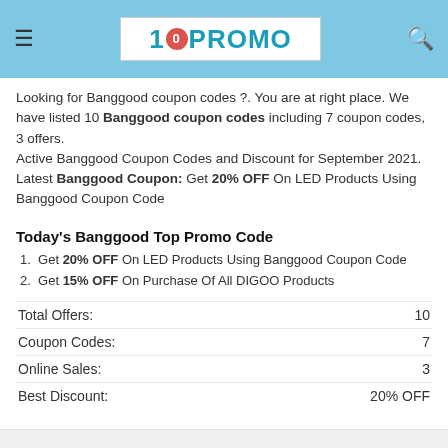10PROMO
Looking for Banggood coupon codes ?. You are at right place. We have listed 10 Banggood coupon codes including 7 coupon codes, 3 offers.
Active Banggood Coupon Codes and Discount for September 2021. Latest Banggood Coupon: Get 20% OFF On LED Products Using Banggood Coupon Code
Today's Banggood Top Promo Code
Get 20% OFF On LED Products Using Banggood Coupon Code
Get 15% OFF On Purchase Of All DIGOO Products
|  |  |
| --- | --- |
| Total Offers: | 10 |
| Coupon Codes: | 7 |
| Online Sales: | 3 |
| Best Discount: | 20% OFF |